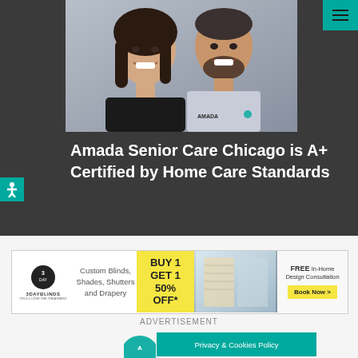[Figure (photo): Two smiling people (a woman with dark hair and a man with beard wearing Amada logo shirt) against grey background]
Amada Senior Care Chicago is A+ Certified by Home Care Standards
[Figure (infographic): 3 Day Blinds advertisement banner: Custom Blinds, Shades, Shutters and Drapery. BUY 1 GET 1 50% OFF*. FREE In-Home Design Consultation. Book Now >]
ADVERTISEMENT
Privacy & Cookies Policy